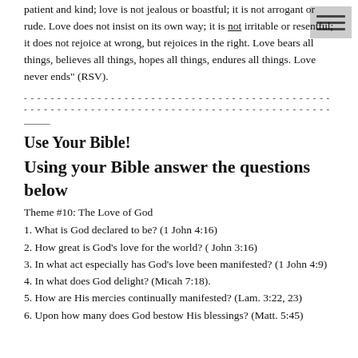patient and kind; love is not jealous or boastful; it is not arrogant or rude. Love does not insist on its own way; it is not irritable or resentful; it does not rejoice at wrong, but rejoices in the right. Love bears all things, believes all things, hopes all things, endures all things. Love never ends" (RSV).
------- (dashed divider lines)
---
Use Your Bible!
Using your Bible answer the questions below
Theme #10: The Love of God
1. What is God declared to be? (1 John 4:16)
2. How great is God’s love for the world? ( John 3:16)
3. In what act especially has God’s love been manifested? (1 John 4:9)
4. In what does God delight? (Micah 7:18).
5. How are His mercies continually manifested? (Lam. 3:22, 23)
6. Upon how many does God bestow His blessings? (Matt. 5:45)